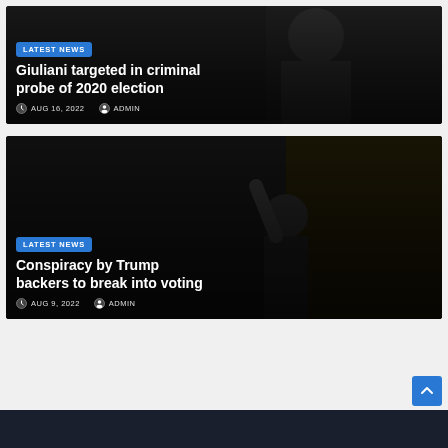[Figure (photo): News card 1: Dark photo of an older man in a suit with overlay text. LATEST NEWS badge, headline 'Giuliani targeted in criminal probe of 2020 election', date AUG 16, 2022, author ADMIN.]
[Figure (photo): News card 2: Dark photo of a man giving thumbs up gesture. LATEST NEWS badge, headline 'Conspiracy by Trump backers to break into voting', date AUG 9, 2022, author ADMIN.]